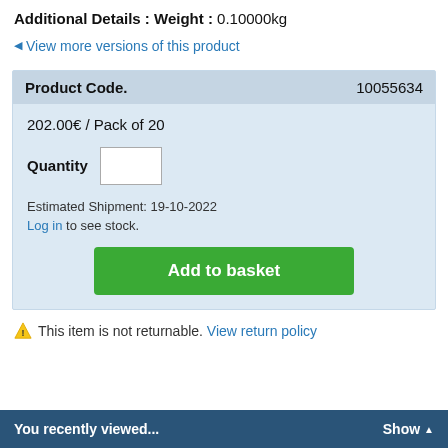Additional Details : Weight : 0.10000kg
◀ View more versions of this product
| Product Code. | 10055634 |
| --- | --- |
| 202.00€ / Pack of 20 |  |
| Quantity | [input box] |
| Estimated Shipment: 19-10-2022 |  |
| Log in to see stock. |  |
| Add to basket |  |
⚠ This item is not returnable. View return policy
You recently viewed...    Show ▲